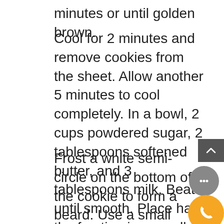minutes or until golden brown.
Cool for 2 minutes and remove cookies from the sheet. Allow another 5 minutes to cool completely. In a bowl, 2 cups powdered sugar, 2 tablespoons softened butter, and 3 tablespoons milk. Beat until smooth. Place half the frosting in a small bowl and add 3 drops of red food coloring. Frost the top half of the cookie with red frosting to make the hat.
Frost a white semi-circle on the bottom of the cookie to form a beard. Use a small amount of frosting to attach chocolate chips for eyes and a mini M&M or cinnamon candy for the nose. Gently press coconut into the white frosting for the beard. Press 1 miniature marshmallow into the frosting to create the end of Santa's hat.